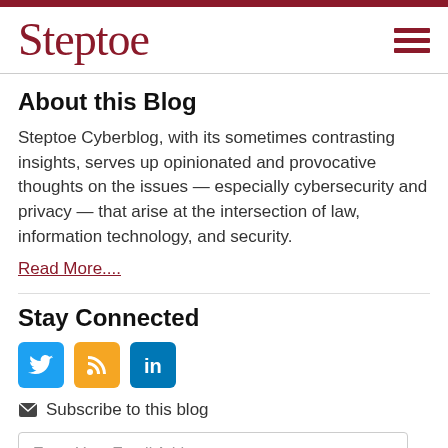Steptoe
About this Blog
Steptoe Cyberblog, with its sometimes contrasting insights, serves up opinionated and provocative thoughts on the issues — especially cybersecurity and privacy — that arise at the intersection of law, information technology, and security.
Read More....
Stay Connected
[Figure (infographic): Social media icons: Twitter (blue bird), RSS (orange feed), LinkedIn (blue in)]
Subscribe to this blog
Enter Your Email Address...